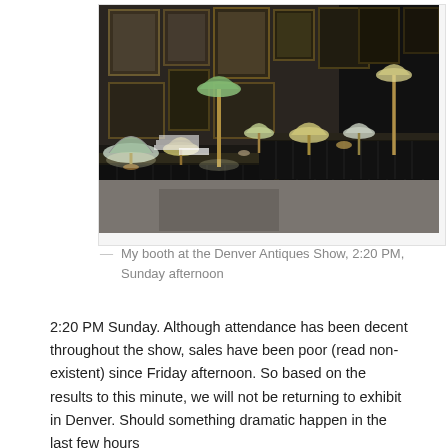[Figure (photo): An antiques show booth with multiple Tiffany-style stained glass lamps on black draped tables, framed artwork hanging on dark walls in the background.]
— My booth at the Denver Antiques Show, 2:20 PM, Sunday afternoon
2:20 PM Sunday. Although attendance has been decent throughout the show, sales have been poor (read non-existent) since Friday afternoon. So based on the results to this minute, we will not be returning to exhibit in Denver. Should something dramatic happen in the last few hours